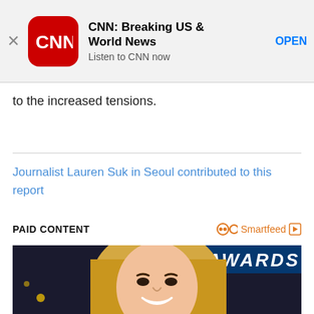[Figure (screenshot): CNN app store banner with red CNN logo icon, app title 'CNN: Breaking US & World News', subtitle 'Listen to CNN now', and OPEN button]
to the increased tensions.
Journalist Lauren Suk in Seoul contributed to this report
PAID CONTENT
[Figure (photo): Photo of a smiling blonde woman at what appears to be an awards event, with 'AWARDS' visible in background]